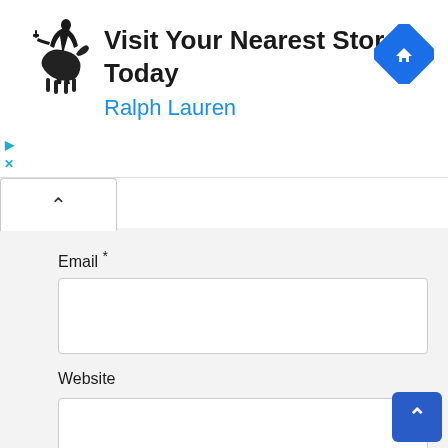[Figure (infographic): Ralph Lauren advertisement banner with polo player logo on left, text 'Visit Your Nearest Store Today' and 'Ralph Lauren' in center, blue diamond direction icon on right. Play and X controls on left side.]
Email *
Website
Save my name, email, and website in this browser